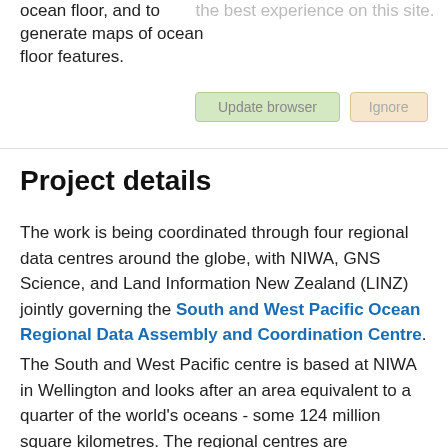ocean floor, and to generate maps of ocean floor features.
the best experience on this site.
Project details
The work is being coordinated through four regional data centres around the globe, with NIWA, GNS Science, and Land Information New Zealand (LINZ) jointly governing the South and West Pacific Ocean Regional Data Assembly and Coordination Centre.
The South and West Pacific centre is based at NIWA in Wellington and looks after an area equivalent to a quarter of the world's oceans - some 124 million square kilometres. The regional centres are responsible for championing mapping activities; assembling and compiling bathymetric information; and collaborating